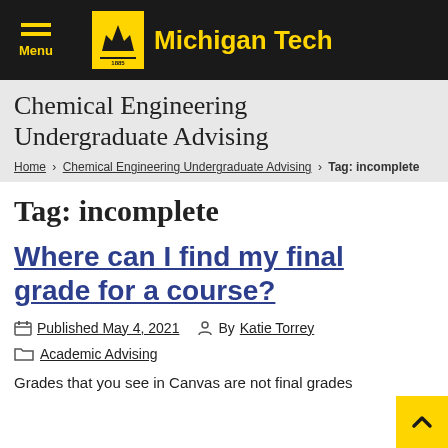Michigan Tech — Chemical Engineering Undergraduate Advising
Chemical Engineering Undergraduate Advising
Home > Chemical Engineering Undergraduate Advising > Tag: incomplete
Tag: incomplete
Where can I find my final grade for a course?
Published May 4, 2021  By Katie Torrey
Academic Advising
Grades that you see in Canvas are not final grades